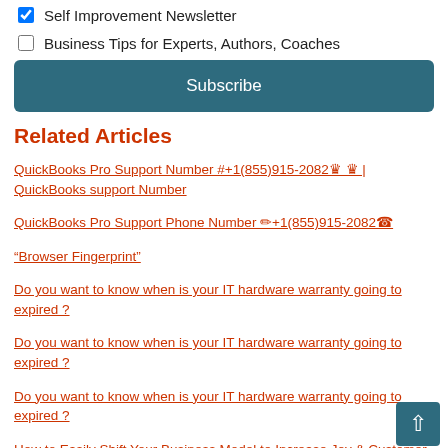Self Improvement Newsletter (checked)
Business Tips for Experts, Authors, Coaches (unchecked)
Subscribe
Related Articles
QuickBooks Pro Support Number #+1(855)915-2082 ♛ ♛ | QuickBooks support Number
QuickBooks Pro Support Phone Number ☛+1(855)915-2082☎
“Browser Fingerprint”
Do you want to know when is your IT hardware warranty going to expired ?
Do you want to know when is your IT hardware warranty going to expired ?
Do you want to know when is your IT hardware warranty going to expired ?
How to Easily Shift Your Business Model to Increase Joy & Customer Retention
How Customer Data Integration Can Take Your Business to the Next Level